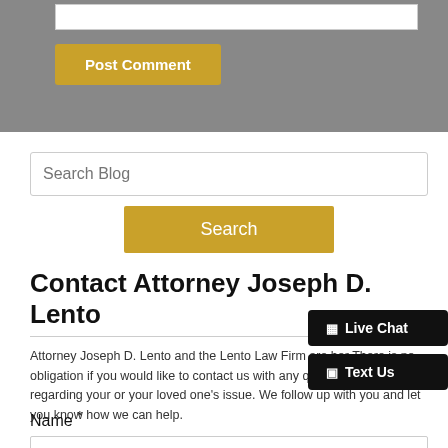[Figure (screenshot): Gray section with a textarea stub and a gold 'Post Comment' button]
Search Blog
Search
Contact Attorney Joseph D. Lento
Attorney Joseph D. Lento and the Lento Law Firm are here to help. There is no obligation if you would like to contact us with any questions or concerns regarding your or your loved one's issue. We will promptly follow up with you and let you know how we can help.
Live Chat
Text Us
Name *